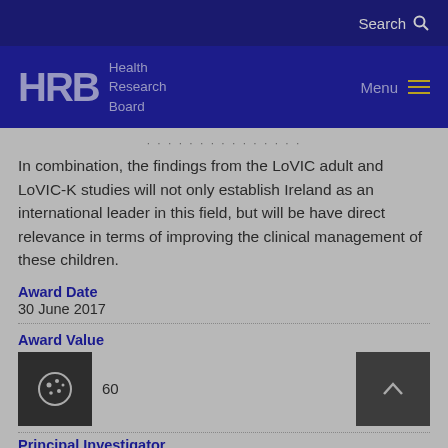Search
[Figure (logo): HRB Health Research Board logo with menu icon]
In combination, the findings from the LoVIC adult and LoVIC-K studies will not only establish Ireland as an international leader in this field, but will be have direct relevance in terms of improving the clinical management of these children.
Award Date
30 June 2017
Award Value
60
Principal Investigator